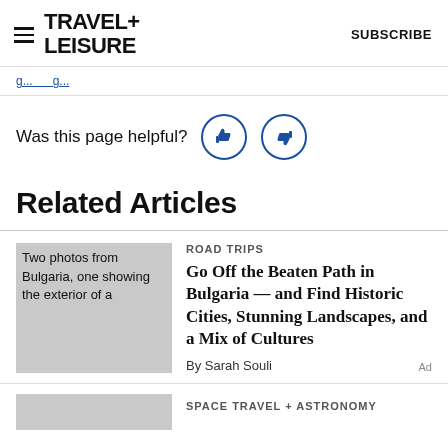TRAVEL+ LEISURE | SUBSCRIBE
Was this page helpful?
Related Articles
[Figure (photo): Two photos from Bulgaria, one showing the exterior of a]
ROAD TRIPS
Go Off the Beaten Path in Bulgaria — and Find Historic Cities, Stunning Landscapes, and a Mix of Cultures
By Sarah Souli
[Figure (photo): Continuation of image below]
SPACE TRAVEL + ASTRONOMY